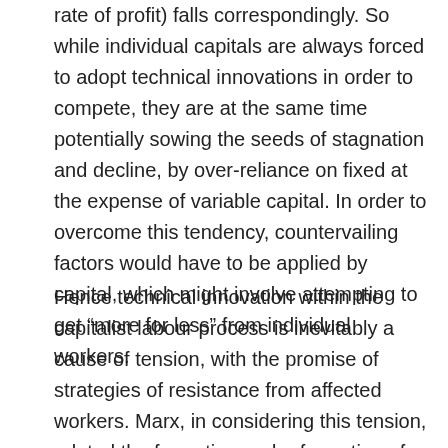rate of profit) falls correspondingly. So while individual capitals are always forced to adopt technical innovations in order to compete, they are at the same time potentially sowing the seeds of stagnation and decline, by over-reliance on fixed at the expense of variable capital. In order to overcome this tendency, countervailing factors would have to be applied by capital, which might involve attempting to get “more for less” from individual workers.
Hence technical innovation within the capitalist labour process is inevitably a cause of tension, with the promise of strategies of resistance from affected workers. Marx, in considering this tension, related the formation and reformation of human society generally to the “change and development of the material means of production, of the forces of production” and thus “the mode of